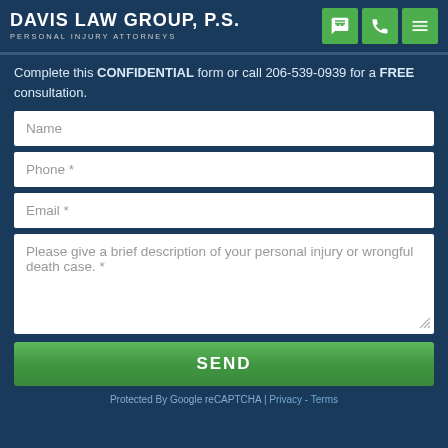Davis Law Group, P.S. — Personal Injury Attorneys
Complete this CONFIDENTIAL form or call 206-539-0939 for a FREE consultation.
[Figure (screenshot): Contact form with fields: Name, Phone *, Email *, and a text area for brief description of personal injury or wrongful death case. *]
SEND
Protected By Google reCAPTCHA | Privacy - Terms